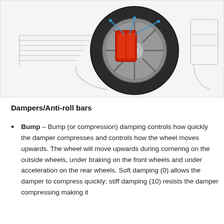[Figure (illustration): Engineering illustration of a car wheel/suspension assembly showing a tire with red brake calipers and blue indicator lines pointing to components, alongside an outline drawing of a car body section.]
Dampers/Anti-roll bars
Bump – Bump (or compression) damping controls how quickly the damper compresses and controls how the wheel moves upwards. The wheel will move upwards during cornering on the outside wheels, under braking on the front wheels and under acceleration on the rear wheels. Soft damping (0) allows the damper to compress quickly; stiff damping (10) resists the damper compressing making it